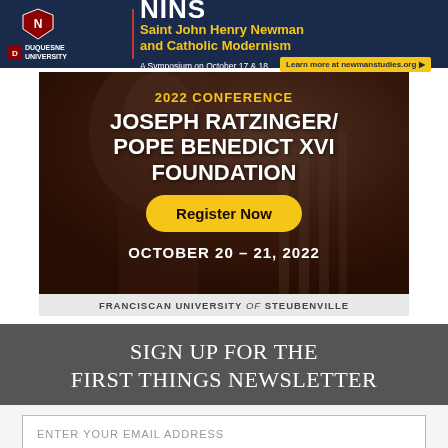[Figure (other): NINS and Duquesne University banner ad for Saint John Henry Newman and Catholic Modernism symposium on October 17 & 18, with link to newmanstudies.org]
[Figure (other): 2022 Conference ad for Joseph Ratzinger/Pope Benedict XVI Foundation, October 20-21, 2022, at Franciscan University of Steubenville, with Register Now button. Background shows dome of St. Peter's Basilica.]
FRANCISCAN UNIVERSITY of STEUBENVILLE
SIGN UP FOR THE FIRST THINGS NEWSLETTER
ENTER YOUR EMAIL ADDRESS